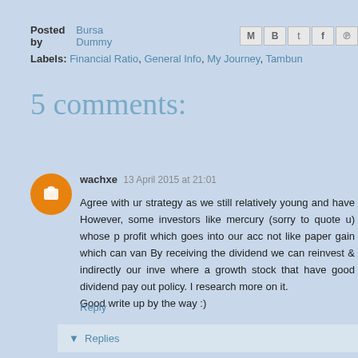Posted by Bursa Dummy [social icons]
Labels: Financial Ratio, General Info, My Journey, Tambun
5 comments:
wachxe  13 April 2015 at 21:01
Agree with ur strategy as we still relatively young and have However, some investors like mercury (sorry to quote u) whose p profit which goes into our acc not like paper gain which can van By receiving the dividend we can reinvest & indirectly our inve where a growth stock that have good dividend pay out policy. I research more on it.
Good write up by the way :)
Reply
▼  Replies